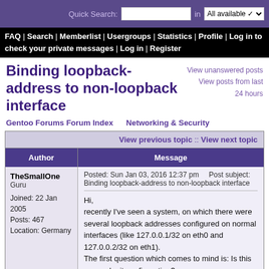Quick Search:   in   [input]   All available
FAQ | Search | Memberlist | Usergroups | Statistics | Profile | Log in to check your private messages | Log in | Register
Binding loopback-address to non-loopback interface
View unanswered posts
View posts from last 24 hours
Gentoo Forums Forum Index     Networking & Security
| Author | Message |
| --- | --- |
| TheSmallOne
Guru

Joined: 22 Jan 2005
Posts: 467
Location: Germany | Posted: Sun Jan 03, 2016 12:37 pm    Post subject: Binding loopback-address to non-loopback interface

Hi,
recently I've seen a system, on which there were several loopback addresses configured on normal interfaces (like 127.0.0.1/32 on eth0 and 127.0.0.2/32 on eth1).
The first question which comes to mind is: Is this even a legit configuration?
And then I wonder, what exactly can be gained by adding loopback addresses to normal |